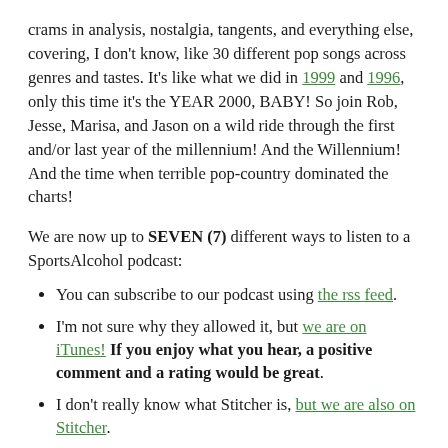crams in analysis, nostalgia, tangents, and everything else, covering, I don't know, like 30 different pop songs across genres and tastes. It's like what we did in 1999 and 1996, only this time it's the YEAR 2000, BABY! So join Rob, Jesse, Marisa, and Jason on a wild ride through the first and/or last year of the millennium! And the Willennium! And the time when terrible pop-country dominated the charts!
We are now up to SEVEN (7) different ways to listen to a SportsAlcohol podcast:
You can subscribe to our podcast using the rss feed.
I'm not sure why they allowed it, but we are on iTunes! If you enjoy what you hear, a positive comment and a rating would be great.
I don't really know what Stitcher is, but we are also on Stitcher.
SportsAlcohol.com is a proud member of the Aha Radio Network. What is Aha? It's kind of like Stitcher, but for